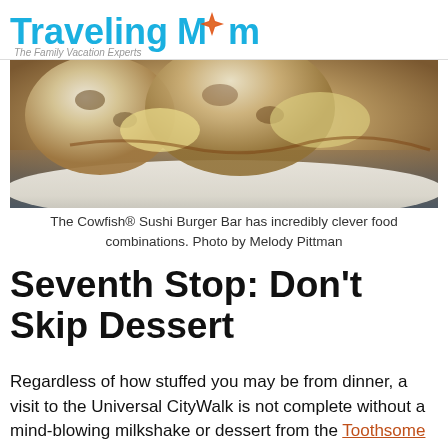TravelingMom — The Family Vacation Experts
[Figure (photo): Close-up photo of sushi burger food items on a plate, showing rice and toppings with a blurred blue background]
The Cowfish® Sushi Burger Bar has incredibly clever food combinations. Photo by Melody Pittman
Seventh Stop: Don't Skip Dessert
Regardless of how stuffed you may be from dinner, a visit to the Universal CityWalk is not complete without a mind-blowing milkshake or dessert from the Toothsome Chocolate Emporium & Savory Feast Kitchen. Be prepared to wait as the lines are long, but these Instagram-worthy creations are well worth